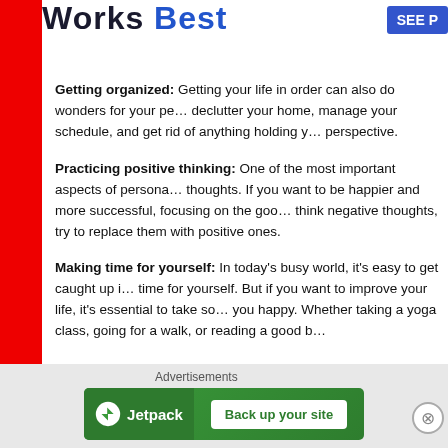Works Best
Getting organized: Getting your life in order can also do wonders for your pe… declutter your home, manage your schedule, and get rid of anything holding y… perspective.
Practicing positive thinking: One of the most important aspects of persona… thoughts. If you want to be happier and more successful, focusing on the goo… think negative thoughts, try to replace them with positive ones.
Making time for yourself: In today's busy world, it's easy to get caught up i… time for yourself. But if you want to improve your life, it's essential to take so… you happy. Whether taking a yoga class, going for a walk, or reading a good b…
Improving yourself is a lifelong journey and beginning to take small steps to… version of you!
Featured Image By: Alena Koval
Advertisements
[Figure (other): Jetpack advertisement banner with logo and 'Back up your site' button]